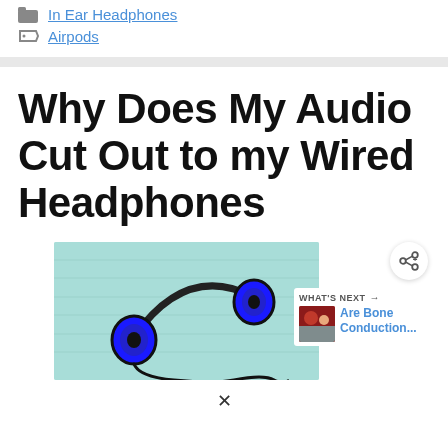In Ear Headphones
Airpods
Why Does My Audio Cut Out to my Wired Headphones
[Figure (photo): Blue and black over-ear headphones lying on a light turquoise/mint wooden surface, with cord visible]
[Figure (screenshot): Share button (circle with share icon) and a 'What's Next' card showing 'Are Bone Conduction...' with a thumbnail of people]